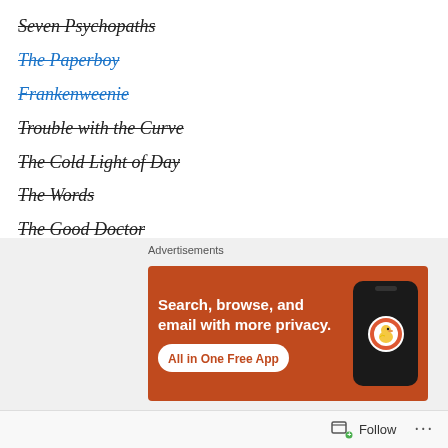Seven Psychopaths
The Paperboy
Frankenweenie
Trouble with the Curve
The Cold Light of Day
The Words
The Good Doctor
Premium Rush
Killer Joe
The Woman in the Fifth
The Vow
[Figure (screenshot): DuckDuckGo advertisement banner: orange background with text 'Search, browse, and email with more privacy. All in One Free App' and a phone graphic with duck logo]
Follow ...